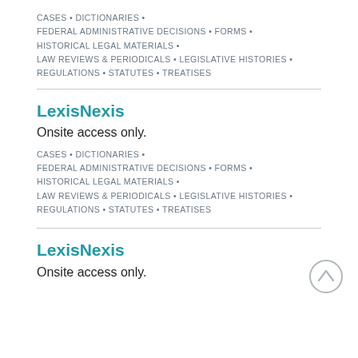CASES • DICTIONARIES • FEDERAL ADMINISTRATIVE DECISIONS • FORMS • HISTORICAL LEGAL MATERIALS • LAW REVIEWS & PERIODICALS • LEGISLATIVE HISTORIES • REGULATIONS • STATUTES • TREATISES
LexisNexis
Onsite access only.
CASES • DICTIONARIES • FEDERAL ADMINISTRATIVE DECISIONS • FORMS • HISTORICAL LEGAL MATERIALS • LAW REVIEWS & PERIODICALS • LEGISLATIVE HISTORIES • REGULATIONS • STATUTES • TREATISES
LexisNexis
Onsite access only.